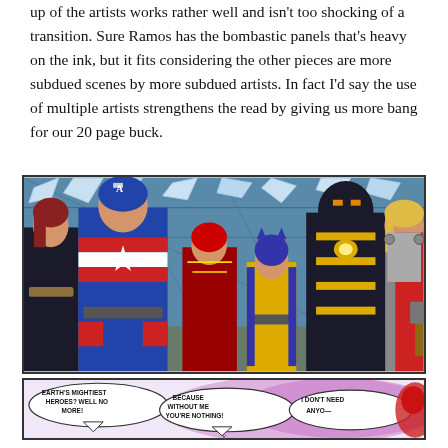up of the artists works rather well and isn't too shocking of a transition. Sure Ramos has the bombastic panels that's heavy on the ink, but it fits considering the other pieces are more subdued scenes by more subdued artists. In fact I'd say the use of multiple artists strengthens the read by giving us more bang for our 20 page buck.
[Figure (illustration): Comic book panel showing Marvel superheroes: Black Widow, Captain America, Spider-Woman, Wolverine, Iron Man in black and gold armor, and Thor standing in a corridor with broken glass/debris falling from ceiling.]
[Figure (illustration): Comic book panel showing speech bubbles: 'EARTH'S MIGHTIEST HEROES? WELL NO MORE!' 'BECAUSE WITHOUT ME YOU'RE NOTHING!' 'I DON'T NEED' with partial view of a red character on the right side.]
x